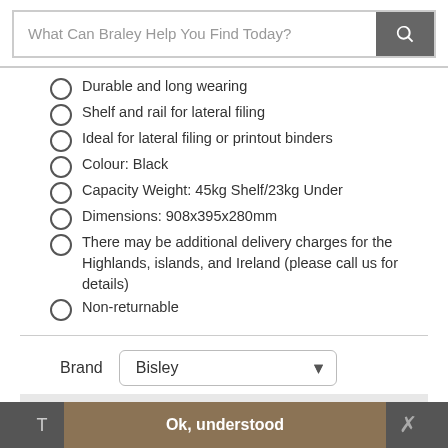What Can Braley Help You Find Today?
Durable and long wearing
Shelf and rail for lateral filing
Ideal for lateral filing or printout binders
Colour: Black
Capacity Weight: 45kg Shelf/23kg Under
Dimensions: 908x395x280mm
There may be additional delivery charges for the Highlands, islands, and Ireland (please call us for details)
Non-returnable
Brand  Bisley
1
Ok, understood